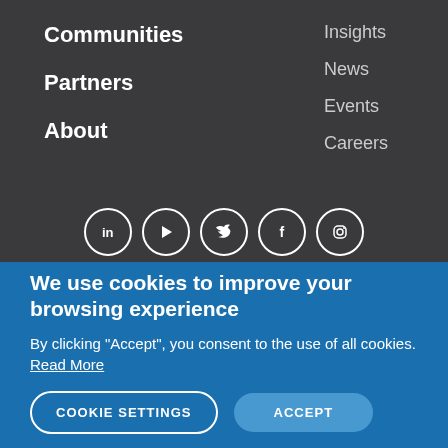Communities
Partners
About
Insights
News
Events
Careers
[Figure (illustration): Social media icons in circles: LinkedIn, YouTube, Twitter, Facebook, Instagram]
We use cookies to improve your browsing experience
By clicking “Accept”, you consent to the use of all cookies. Read More
COOKIE SETTINGS
ACCEPT